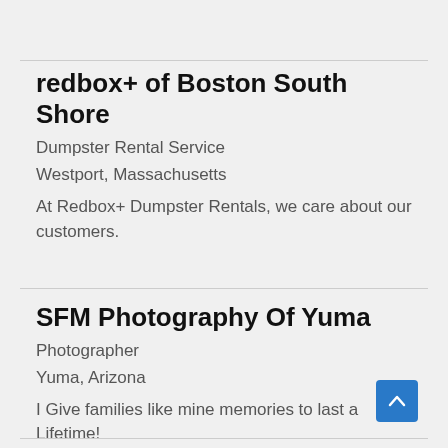redbox+ of Boston South Shore
Dumpster Rental Service
Westport, Massachusetts
At Redbox+ Dumpster Rentals, we care about our customers.
SFM Photography Of Yuma
Photographer
Yuma, Arizona
I Give families like mine memories to last a Lifetime!